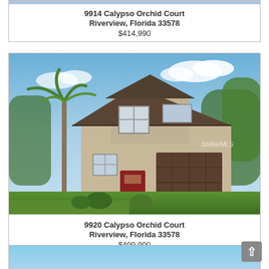[Figure (photo): Partial view of top listing card showing cropped house photo]
9914 Calypso Orchid Court
Riverview, Florida 33578
$414,990
[Figure (photo): Two-story stucco home with dark brown roof, red front door, two-car garage, palm tree and landscaping in front, rendering photo with StellarMLS watermark]
9920 Calypso Orchid Court
Riverview, Florida 33578
$409,990
[Figure (photo): Partial view of third listing card showing sky at top]